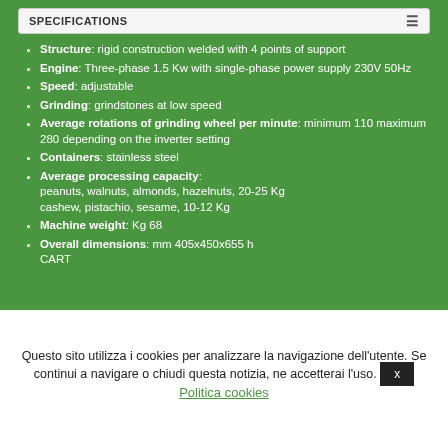SPECIFICATIONS
Structure: rigid construction welded with 4 points of support
Engine: Three-phase 1.5 Kw with single-phase power supply 230V 50Hz
Speed: adjustable
Grinding: grindstones at low speed
Average rotations of grinding wheel per minute: minimum 110 maximum 280 depending on the inverter setting
Containers: stainless steel
Average processing capacity: peanuts, walnuts, almonds, hazelnuts, 20-25 Kg cashew, pistachio, sesame, 10-12 Kg
Machine weight: Kg 68
Overall dimensions: mm 405x450x655 h CART
Questo sito utilizza i cookies per analizzare la navigazione dell'utente. Se continui a navigare o chiudi questa notizia, ne accetterai l'uso. x Politica cookies